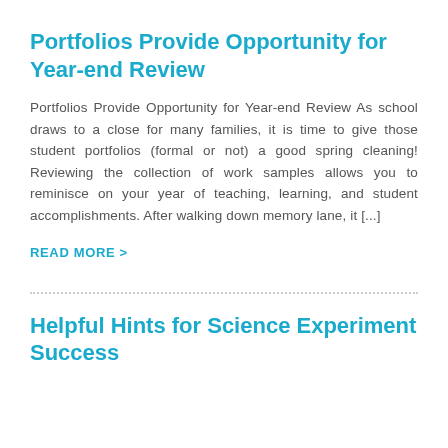Portfolios Provide Opportunity for Year-end Review
Portfolios Provide Opportunity for Year-end Review As school draws to a close for many families, it is time to give those student portfolios (formal or not) a good spring cleaning! Reviewing the collection of work samples allows you to reminisce on your year of teaching, learning, and student accomplishments. After walking down memory lane, it [...]
READ MORE >
Helpful Hints for Science Experiment Success